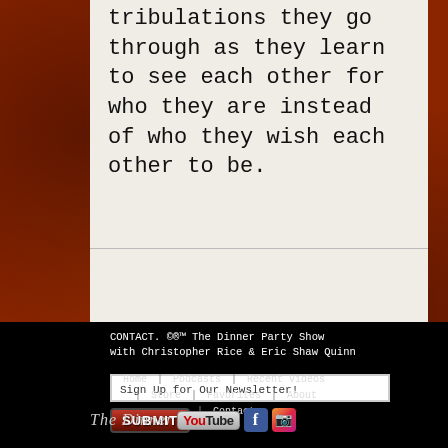tribulations they go through as they learn to see each other for who they are instead of who they wish each other to be.
CONTACT. ©®™ The Dinner Party Show with Christopher Rice & Eric Shaw Quinn
Sign Up for Our Newsletter!
[Figure (other): SUBMIT button in red/brown gradient style]
Home | Podcasts | Recent Videos | Store | Favorites | About | Contact
[Figure (logo): The Dinner Party Show logo with YouTube, Facebook, and Instagram icons]